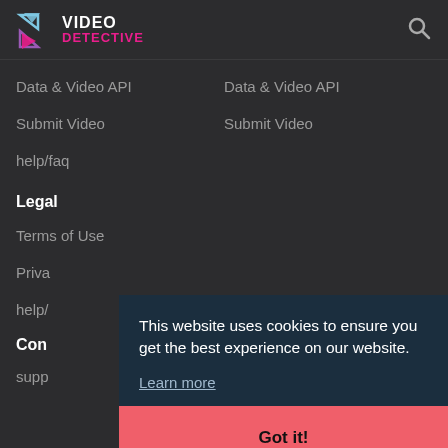VIDEO DETECTIVE
Data & Video API
Data & Video API
Submit Video
Submit Video
help/faq
Legal
Terms of Use
Priva[cy Policy]
help/[faq]
Con[tact]
supp[ort]
This website uses cookies to ensure you get the best experience on our website.
Learn more
Got it!